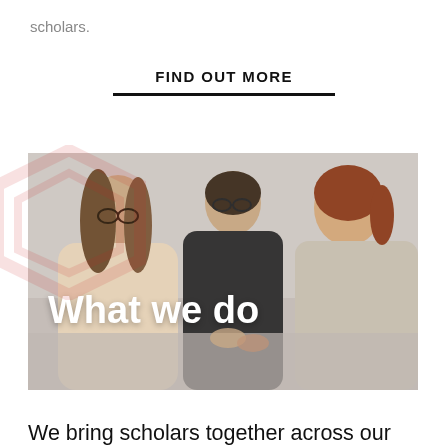scholars.
FIND OUT MORE
[Figure (photo): Three young scholars sitting together at a table, smiling and talking. Two women and one man. Text overlay reads 'What we do'.]
We bring scholars together across our global network to develop research and grow the discipline. The scholars come to publications and